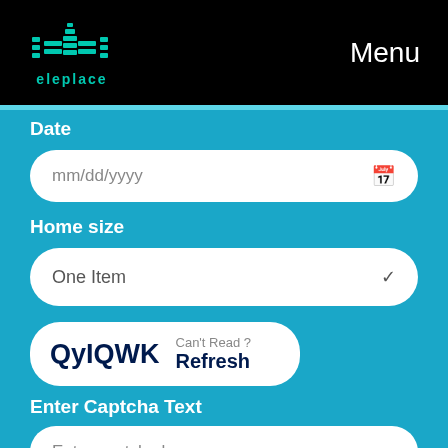[Figure (logo): eleplace logo with teal building/skyline icon and teal text 'eleplace' below]
Menu
Date
mm/dd/yyyy
Home size
One Item
[Figure (other): CAPTCHA box showing text 'QyIQWK' with 'Can't Read ? Refresh' option]
Enter Captcha Text
Enter captcha here